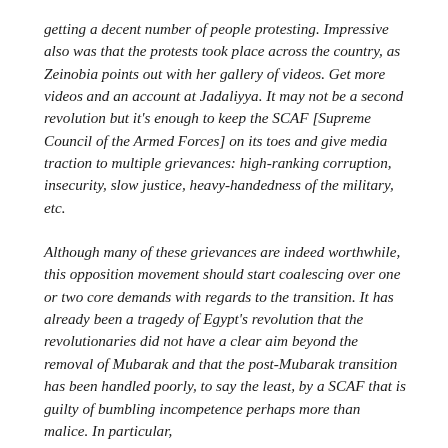getting a decent number of people protesting. Impressive also was that the protests took place across the country, as Zeinobia points out with her gallery of videos. Get more videos and an account at Jadaliyya. It may not be a second revolution but it's enough to keep the SCAF [Supreme Council of the Armed Forces] on its toes and give media traction to multiple grievances: high-ranking corruption, insecurity, slow justice, heavy-handedness of the military, etc.
Although many of these grievances are indeed worthwhile, this opposition movement should start coalescing over one or two core demands with regards to the transition. It has already been a tragedy of Egypt's revolution that the revolutionaries did not have a clear aim beyond the removal of Mubarak and that the post-Mubarak transition has been handled poorly, to say the least, by a SCAF that is guilty of bumbling incompetence perhaps more than malice. In particular,